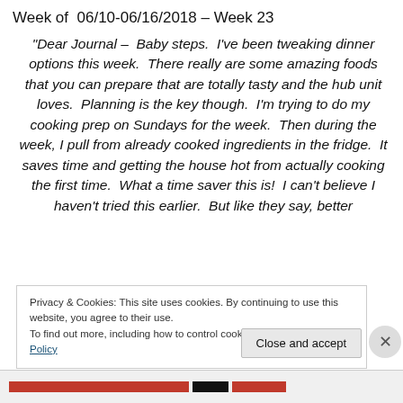Week of  06/10-06/16/2018 – Week 23
“Dear Journal –  Baby steps.  I’ve been tweaking dinner options this week.  There really are some amazing foods that you can prepare that are totally tasty and the hub unit loves.  Planning is the key though.  I’m trying to do my cooking prep on Sundays for the week.  Then during the week, I pull from already cooked ingredients in the fridge.  It saves time and getting the house hot from actually cooking the first time.  What a time saver this is!  I can’t believe I haven’t tried this earlier.  But like they say, better
Privacy & Cookies: This site uses cookies. By continuing to use this website, you agree to their use.
To find out more, including how to control cookies, see here: Cookie Policy
Close and accept